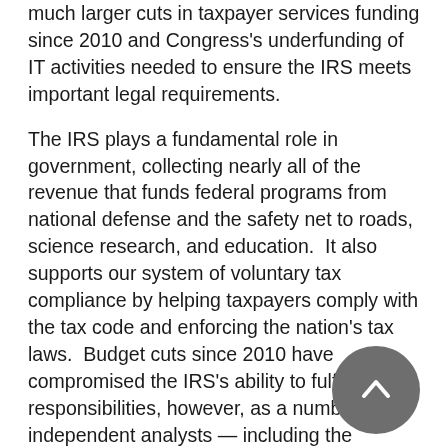much larger cuts in taxpayer services funding since 2010 and Congress's underfunding of IT activities needed to ensure the IRS meets important legal requirements.
The IRS plays a fundamental role in government, collecting nearly all of the revenue that funds federal programs from national defense and the safety net to roads, science research, and education.  It also supports our system of voluntary tax compliance by helping taxpayers comply with the tax code and enforcing the nation's tax laws.  Budget cuts since 2010 have compromised the IRS's ability to fulfill these responsibilities, however, as a number of independent analysts — including the National Taxpayer Advocate, the Treasury Inspector General for Tax Administration, the IRS Oversight Board, and the Government Accountability Office — have concluded.  This underfunding, not the IRS's efforts to meet its multiple responsibilities despite reduced resources, is the fundamental source of today's low levels of taxpayer service.